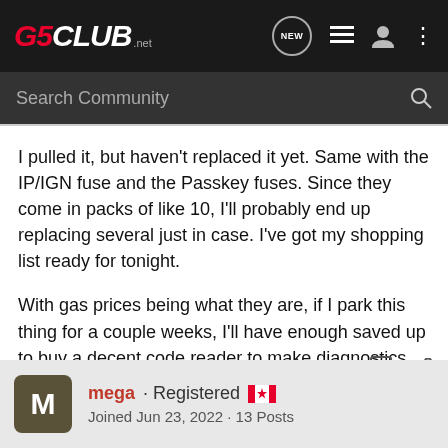G5CLUB.net
I pulled it, but haven't replaced it yet. Same with the IP/IGN fuse and the Passkey fuses. Since they come in packs of like 10, I'll probably end up replacing several just in case. I've got my shopping list ready for tonight.

With gas prices being what they are, if I park this thing for a couple weeks, I'll have enough saved up to buy a decent code reader to make diagnostics easier.
mega · Registered
Joined Jun 23, 2022 · 13 Posts